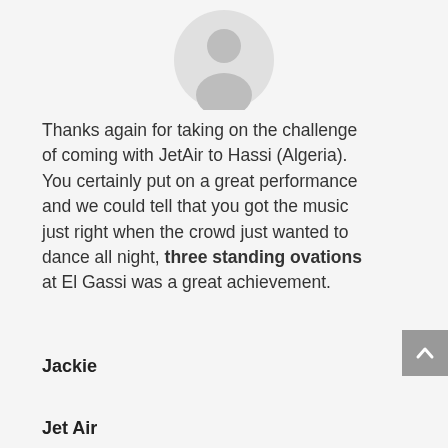[Figure (illustration): Generic user avatar icon: circle with grey head and shoulders silhouette on light grey background]
Thanks again for taking on the challenge of coming with JetAir to Hassi (Algeria). You certainly put on a great performance and we could tell that you got the music just right when the crowd just wanted to dance all night, three standing ovations at El Gassi was a great achievement.
Jackie
Jet Air